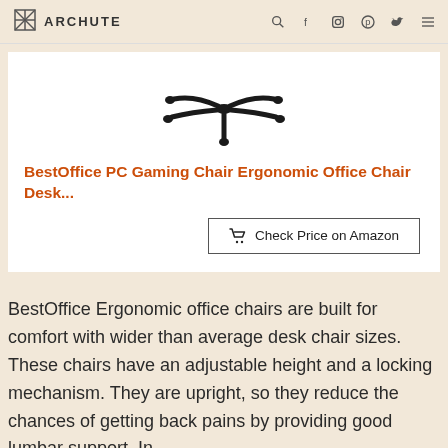ARCHUTE
[Figure (photo): Chair base/caster assembly component shown from above on white background]
BestOffice PC Gaming Chair Ergonomic Office Chair Desk...
Check Price on Amazon
BestOffice Ergonomic office chairs are built for comfort with wider than average desk chair sizes. These chairs have an adjustable height and a locking mechanism. They are upright, so they reduce the chances of getting back pains by providing good lumbar support. In